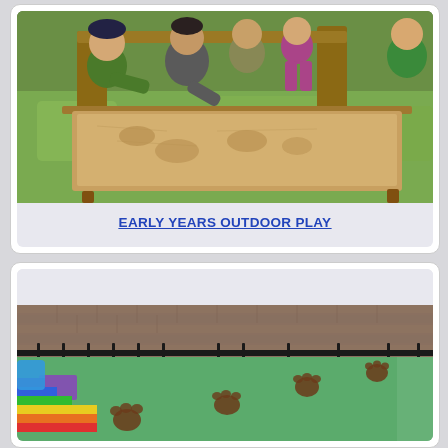[Figure (photo): Children playing outdoors around a sand table in a garden setting, leaning over the table making prints in sand]
EARLY YEARS OUTDOOR PLAY
[Figure (photo): School playground with green rubber safety surface featuring brown paw print markings and colorful rainbow stripe panels along the bottom edge, surrounded by a brick wall with fencing]